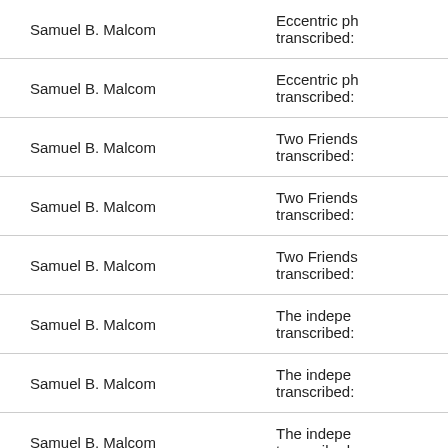| Author | Title/Description |
| --- | --- |
| Samuel B. Malcom | Eccentric ph… transcribed: |
| Samuel B. Malcom | Eccentric ph… transcribed: |
| Samuel B. Malcom | Two Friends… transcribed: |
| Samuel B. Malcom | Two Friends… transcribed: |
| Samuel B. Malcom | Two Friends… transcribed: |
| Samuel B. Malcom | The indepe… transcribed: |
| Samuel B. Malcom | The indepe… transcribed: |
| Samuel B. Malcom | The indepe… transcribed: |
| Samuel B. Malcom | The indepe… transcribed: |
| Samuel B. Malcom | The microco… Gregory Gri… Inscribed to 2 transcribed: |